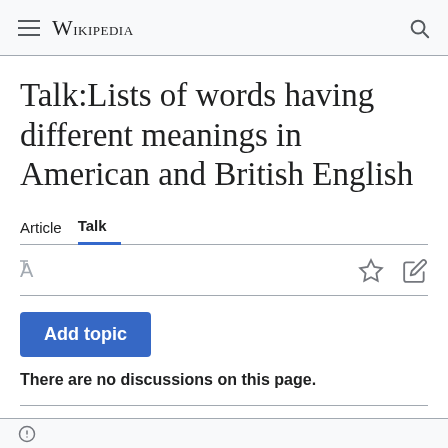≡ WIKIPEDIA 🔍
Talk:Lists of words having different meanings in American and British English
Article  Talk
Add topic
There are no discussions on this page.